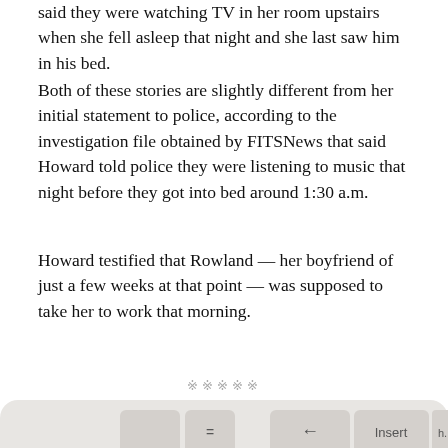said they were watching TV in her room upstairs when she fell asleep that night and she last saw him in his bed.
Both of these stories are slightly different from her initial statement to police, according to the investigation file obtained by FITSNews that said Howard told police they were listening to music that night before they got into bed around 1:30 a.m.
Howard testified that Rowland — her boyfriend of just a few weeks at that point — was supposed to take her to work that morning.
※※※※※
[Figure (photo): Close-up photograph of a computer keyboard with a large blue email/envelope key in the center, and white keys including Insert, Delete, and End keys visible.]